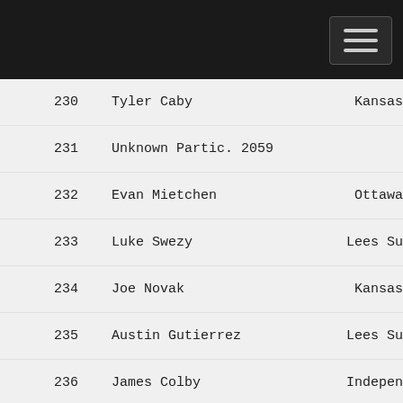230  Tyler Caby  Kansas
231  Unknown Partic. 2059
232  Evan Mietchen  Ottawa
233  Luke Swezy  Lees Su
234  Joe Novak  Kansas
235  Austin Gutierrez  Lees Su
236  James Colby  Indepen